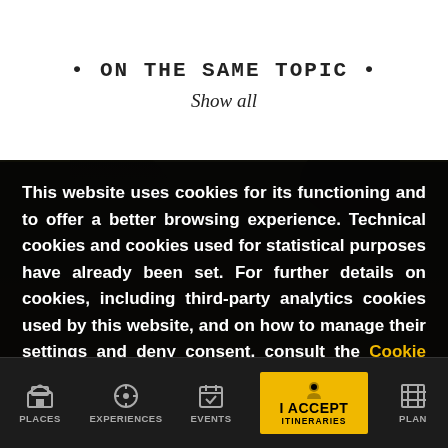• ON THE SAME TOPIC •
Show all
[Figure (photo): Dark scenic outdoor/travel photo visible behind cookie consent overlay]
This website uses cookies for its functioning and to offer a better browsing experience. Technical cookies and cookies used for statistical purposes have already been set. For further details on cookies, including third-party analytics cookies used by this website, and on how to manage their settings and deny consent, consult the Cookie Policy. By clicking I ACCEPT, you consent to the use of cookies.
PLACES | EXPERIENCES | EVENTS | I ACCEPT ITINERARIES | PLAN